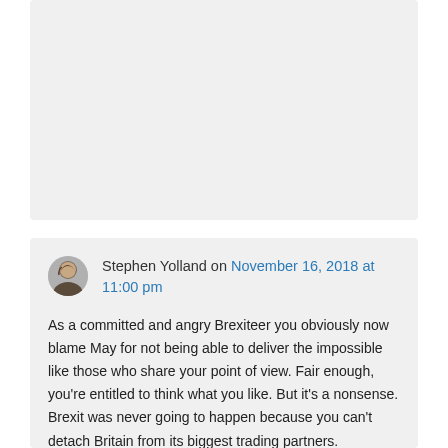[Figure (other): Gray placeholder card at top of page]
Stephen Yolland on November 16, 2018 at 11:00 pm

As a committed and angry Brexiteer you obviously now blame May for not being able to deliver the impossible like those who share your point of view. Fair enough, you're entitled to think what you like. But it's a nonsense. Brexit was never going to happen because you can't detach Britain from its biggest trading partners.